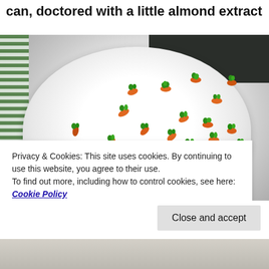can, doctored with a little almond extract
[Figure (photo): A bowl of white frosting/whipped cream decorated with many small orange and green candy carrots arranged on top, photographed from above. Green striped cloth visible on left side, dark background at top.]
Privacy & Cookies: This site uses cookies. By continuing to use this website, you agree to their use.
To find out more, including how to control cookies, see here: Cookie Policy
Close and accept